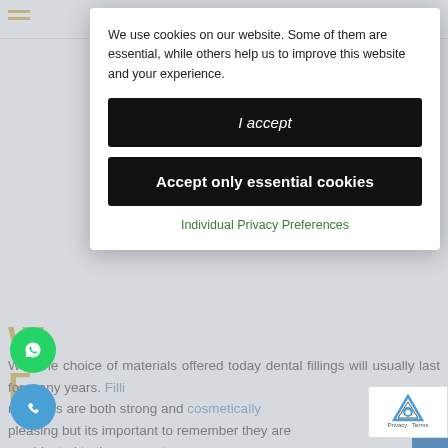We use cookies on our website. Some of them are essential, while others help us to improve this website and your experience.
I accept
Accept only essential cookies
Individual Privacy Preferences
With the choice of materials offered today dental fillings will usually last for many years. Filling materials are both strong and cosmetically pleasing but its important to remember they are subjected to the same stresses as your natural teeth.
ngs serve an important function in oral health